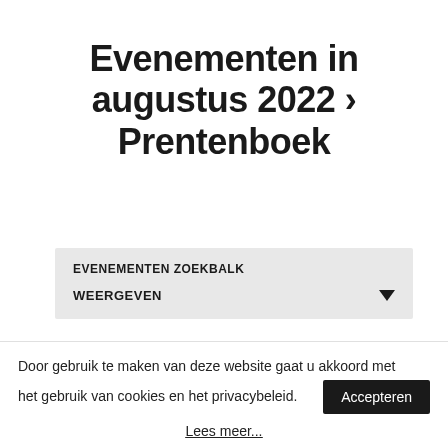Evenementen in augustus 2022 › Prentenboek
EVENEMENTEN ZOEKBALK
WEERGEVEN
BEKIJK ALS
Door gebruik te maken van deze website gaat u akkoord met het gebruik van cookies en het privacybeleid.
Accepteren
Lees meer...